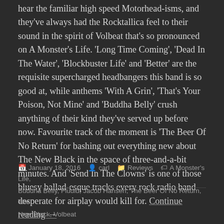hear the familiar high speed Motorhead-isms, and they've always had the Rocktallica feel to their sound in the spirit of Volbeat that's so pronounced on A Monster's Life. 'Long Time Coming', 'Dead In The Water', 'Blockbuster Life' and 'Better' are the requisite supercharged headbangers this band is so good at, while anthems 'With A Grin', 'That's Your Poison, Not Mine' and 'Buddha Belly' crush anything of their kind they've served up before now. Favourite track of the moment is 'The Beer Of No Return' for bashing out everything new about The New Black in the space of three-and-a-bit minutes. And 'Send In The Clowns' is one of those bluesy ballad-esque tracks every rock radio band desperate for airplay would kill for. Continue reading →
January 18, 2016  carl  Reviews  A Monster's Life, Buddha Belly, Fludid, Jacob Hansen, The Beer Of No Return, The New Black, Volbeat